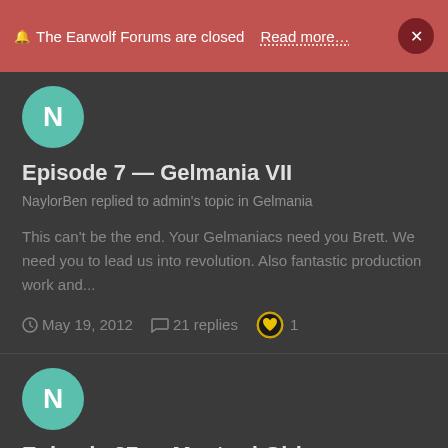🔔 The Earwolf Forums are closed   Read more…   ×
Episode 7 — Gelmania VII
NaylorBen replied to admin's topic in Gelmania
This can't be the end. Your Gelmaniacs need you Brett. We need you to lead us into revolution. Also fantastic production work and...
May 19, 2012   21 replies   1
Episode 27 — Mustard Girl
NaylorBen replied to admin's topic in improv4humans with Matt Besser
Well I'll never be able to look at 20's Chicago Gangsters the same again.